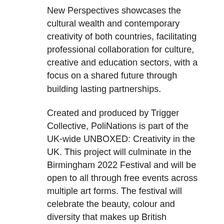New Perspectives showcases the cultural wealth and contemporary creativity of both countries, facilitating professional collaboration for culture, creative and education sectors, with a focus on a shared future through building lasting partnerships.
Created and produced by Trigger Collective, PoliNations is part of the UK-wide UNBOXED: Creativity in the UK. This project will culminate in the Birmingham 2022 Festival and will be open to all through free events across multiple art forms. The festival will celebrate the beauty, colour and diversity that makes up British horticulture and culture. Up-and-coming and renowned artists from Birmingham and beyond will perform under the shelter of giant architectural trees and surrounded by thousands of colourful plants.